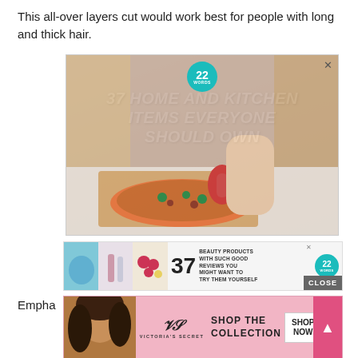This all-over layers cut would work best for people with long and thick hair.
[Figure (screenshot): Advertisement banner: '37 Home and Kitchen Items Everyone Should Own' with image of a pizza being cut with a red pizza cutter. Has a teal circular badge with '22 WORDS' and an X close button.]
[Figure (screenshot): Advertisement banner: '37 Beauty Products With Such Good Reviews You Might Want To Try Them Yourself' with product images and a teal '22 WORDS' badge. Has a CLOSE button.]
Empha
[Figure (screenshot): Victoria's Secret advertisement: 'Shop The Collection' with a SHOP NOW button and a pink scroll-to-top arrow button on the right.]